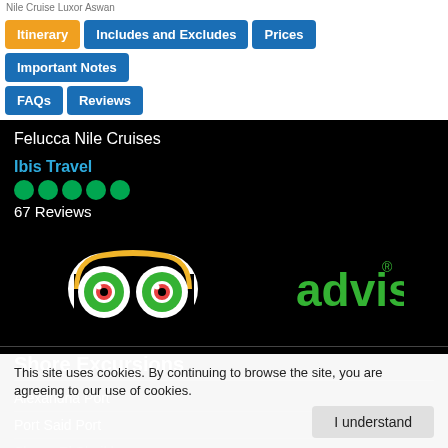Nile Cruise Luxor Aswan
Itinerary
Includes and Excludes
Prices
Important Notes
FAQs
Reviews
Felucca Nile Cruises
Ibis Travel
67 Reviews
[Figure (logo): TripAdvisor logo with owl eyes icon and tripadvisor text in green and black]
Shore Excursions
Alexandria Port
Port Said Port
Sharm El Sheikh
Aqaba Port
This site uses cookies. By continuing to browse the site, you are agreeing to our use of cookies.
I understand